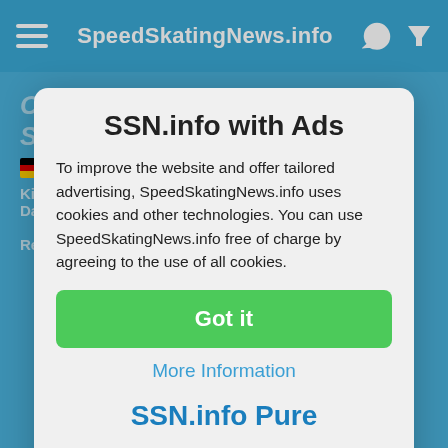SpeedSkatingNews.info
Competition 12 Internationaler Senioren Sprint
Killin:    Date: 21. – 22.01.2006
Records: 2x World Record Masters
3x National Record Master AG 40
4x National Record Master AG 45
3x National Record Master AG 50
1x National Record Master AG 55
1x National Record Master AG 60
2x National Record Master AG 65
SSN.info with Ads
To improve the website and offer tailored advertising, SpeedSkatingNews.info uses cookies and other technologies. You can use SpeedSkatingNews.info free of charge by agreeing to the use of all cookies.
Got it
More Information
SSN.info Pure
With SSN.info Pure for only 3 EUR per month you can
1x National Record Master AG 70
1x National Record Master AG 75